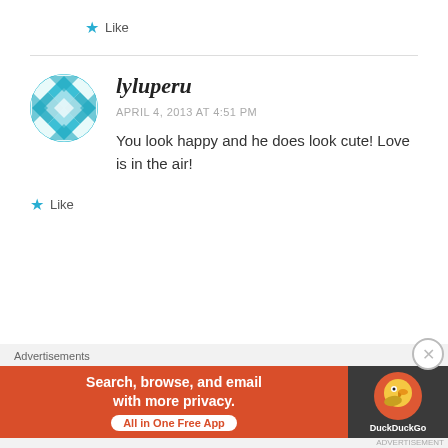Like
lyluperu
APRIL 4, 2013 AT 4:51 PM
You look happy and he does look cute! Love is in the air!
Like
Advertisements
[Figure (screenshot): DuckDuckGo advertisement banner: orange background with text 'Search, browse, and email with more privacy. All in One Free App' and DuckDuckGo logo on dark right side.]